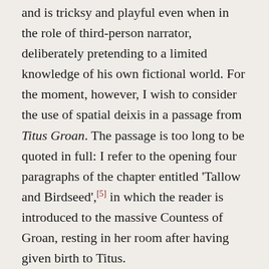and is tricksy and playful even when in the role of third-person narrator, deliberately pretending to a limited knowledge of his own fictional world.  For the moment, however, I wish to consider the use of spatial deixis in a passage from Titus Groan.  The passage is too long to be quoted in full: I refer to the opening four paragraphs of the chapter entitled 'Tallow and Birdseed',[5] in which the reader is introduced to the massive Countess of Groan, resting in her room after having given birth to Titus.
The description of the Countess' room begins nine feet above the floor, with its focus on the candelabrum, 'Like a vast spider suspended by a